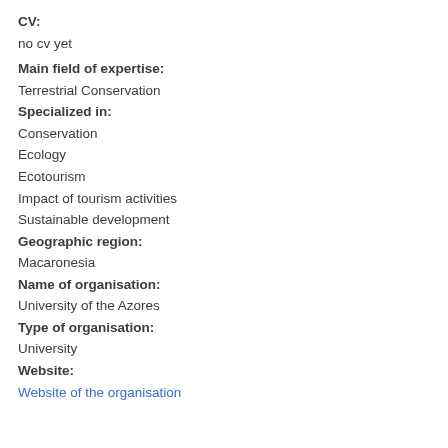CV:
no cv yet
Main field of expertise:
Terrestrial Conservation
Specialized in:
Conservation
Ecology
Ecotourism
Impact of tourism activities
Sustainable development
Geographic region:
Macaronesia
Name of organisation:
University of the Azores
Type of organisation:
University
Website:
Website of the organisation